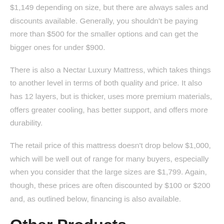$1,149 depending on size, but there are always sales and discounts available. Generally, you shouldn't be paying more than $500 for the smaller options and can get the bigger ones for under $900.
There is also a Nectar Luxury Mattress, which takes things to another level in terms of both quality and price. It also has 12 layers, but is thicker, uses more premium materials, offers greater cooling, has better support, and offers more durability.
The retail price of this mattress doesn't drop below $1,000, which will be well out of range for many buyers, especially when you consider that the large sizes are $1,799. Again, though, these prices are often discounted by $100 or $200 and, as outlined below, financing is also available.
Other Products